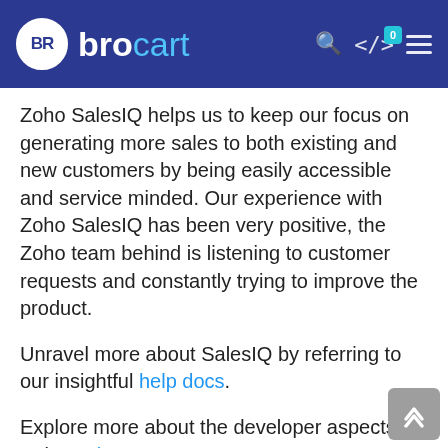brocart
Zoho SalesIQ helps us to keep our focus on generating more sales to both existing and new customers by being easily accessible and service minded. Our experience with Zoho SalesIQ has been very positive, the Zoho team behind is listening to customer requests and constantly trying to improve the product.
Unravel more about SalesIQ by referring to our insightful help docs.
Explore more about the developer aspects of SalesIQ here!
Looking out for assistance from a pro? Drop us a mail at support@zohosalesiq.com